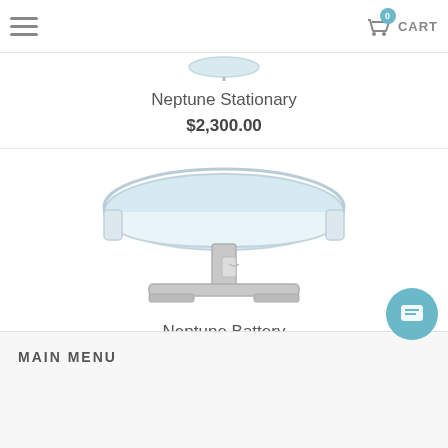CART (0)
[Figure (photo): Small image of Neptune Stationary bath product (partially visible at top)]
Neptune Stationary
$2,300.00
[Figure (photo): Neptune Battery hydrotherapy bath - white rectangular tub on adjustable pedestal base with feet]
Neptune Battery
$4,065.00
MAIN MENU